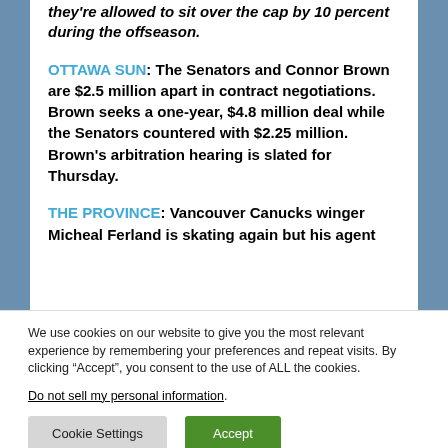they're allowed to sit over the cap by 10 percent during the offseason.
OTTAWA SUN: The Senators and Connor Brown are $2.5 million apart in contract negotiations. Brown seeks a one-year, $4.8 million deal while the Senators countered with $2.25 million. Brown's arbitration hearing is slated for Thursday.
THE PROVINCE: Vancouver Canucks winger Micheal Ferland is skating again but his agent
We use cookies on our website to give you the most relevant experience by remembering your preferences and repeat visits. By clicking "Accept", you consent to the use of ALL the cookies. Do not sell my personal information.